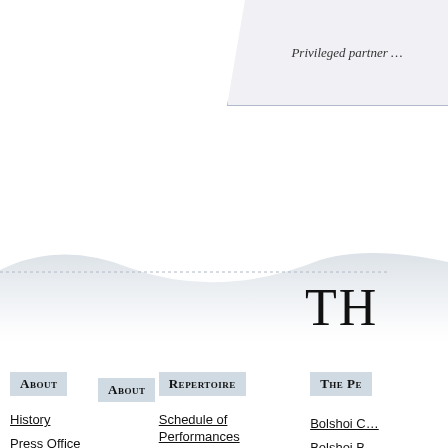Privileged partner …
[Figure (illustration): Wave / decorative banner graphic with gradient fade, partial site title 'TH' visible on right]
About
Repertoire
The Pe…
History
Press Office
Photos
Live relays
Young Artists Opera Program
Getting here
Schedule of Performances
Opera
Ballet
Concert
Chamber concerts
Guest Companies at the Bolshoi
Bolshoi C…
Bolshoi B…
Bolshoi Orchestra…
Managem…